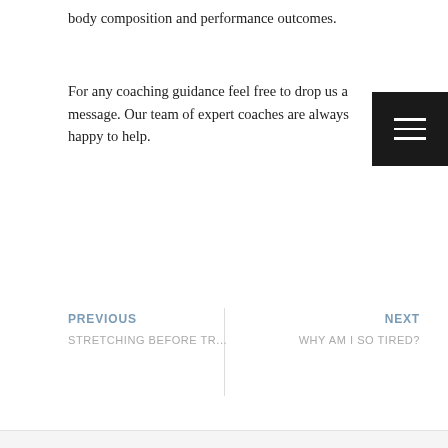body composition and performance outcomes.
For any coaching guidance feel free to drop us a message. Our team of expert coaches are always happy to help.
PREVIOUS
STRETCHING BEFORE TR...
NEXT
WHY AM I SO TIRED?
DOWNLOAD YOUR FREE RECIPE GUIDE
Create delicious, wholesome, & calories controlled meals